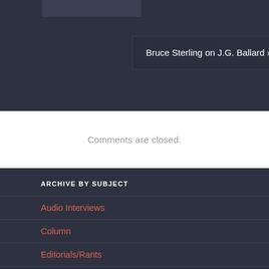[Figure (screenshot): Partial image thumbnail in dark background area at top left]
Bruce Sterling on J.G. Ballard »
Comments are closed.
ARCHIVE BY SUBJECT
Audio Interviews
Column
Editorials/Rants
Essay / Research
Hatch 23